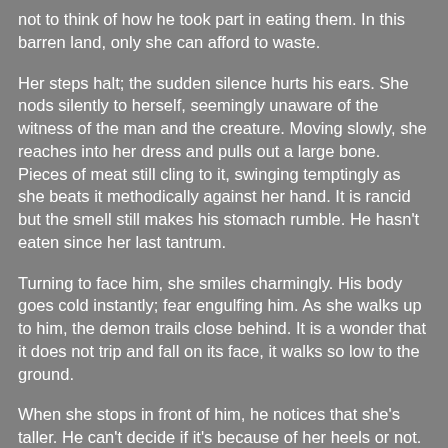not to think of how he took part in eating them. In this barren land, only she can afford to waste.
Her steps halt; the sudden silence hurts his ears. She nods silently to herself, seemingly unaware of the witness of the man and the creature. Moving slowly, she reaches into her dress and pulls out a large bone. Pieces of meat still cling to it, swinging temptingly as she beats it methodically against her hand. It is rancid but the smell still makes his stomach rumble. He hasn't eaten since her last tantrum.
Turning to face him, she smiles charmingly. His body goes cold instantly; fear engulfing him. As she walks up to him, the demon trails close behind. It is a wonder that it does not trip and fall on its face, it walks so low to the ground.
When she stops in front of him, he notices that she's taller. He can't decide if it's because of her heels or not. He hasn't much time to consider it. She also...